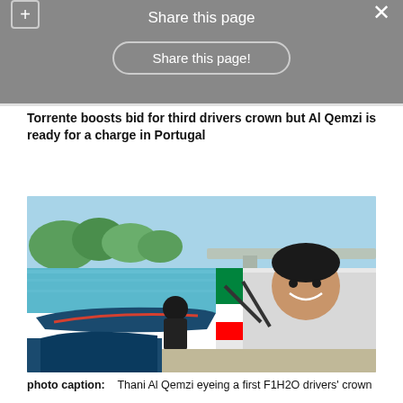Share this page
Share this page!
Torrente boosts bid for third drivers crown but Al Qemzi is ready for a charge in Portugal
[Figure (photo): Thani Al Qemzi smiling near a boat on a river with trees and a bridge in the background, wearing a white racing suit with UAE flag colors]
photo caption:    Thani Al Qemzi  eyeing a first F1H2O drivers' crown